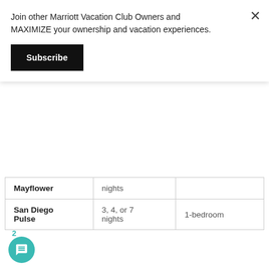Join other Marriott Vacation Club Owners and MAXIMIZE your ownership and vacation experiences.
Subscribe
| Mayflower | nights |  |
| San Diego Pulse | 3, 4, or 7 nights | 1-bedroom |
So what is the best deal, you are wondering? HANDS DOWN DC PULSE MAYFLOWER is the best deal available for June — by a long shot. It would be only 240 MVC points to stay 4 nights in their Guest Room, compared to 1,135 MVC if you reserved them not using the Escapes discount. Desert Springs Villas I would save you some MVC points as well, though not